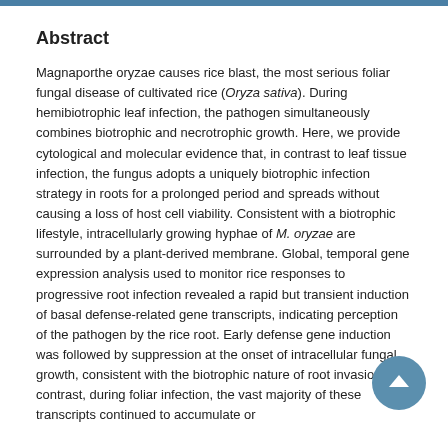Abstract
Magnaporthe oryzae causes rice blast, the most serious foliar fungal disease of cultivated rice (Oryza sativa). During hemibiotrophic leaf infection, the pathogen simultaneously combines biotrophic and necrotrophic growth. Here, we provide cytological and molecular evidence that, in contrast to leaf tissue infection, the fungus adopts a uniquely biotrophic infection strategy in roots for a prolonged period and spreads without causing a loss of host cell viability. Consistent with a biotrophic lifestyle, intracellularly growing hyphae of M. oryzae are surrounded by a plant-derived membrane. Global, temporal gene expression analysis used to monitor rice responses to progressive root infection revealed a rapid but transient induction of basal defense-related gene transcripts, indicating perception of the pathogen by the rice root. Early defense gene induction was followed by suppression at the onset of intracellular fungal growth, consistent with the biotrophic nature of root invasion. By contrast, during foliar infection, the vast majority of these transcripts continued to accumulate or